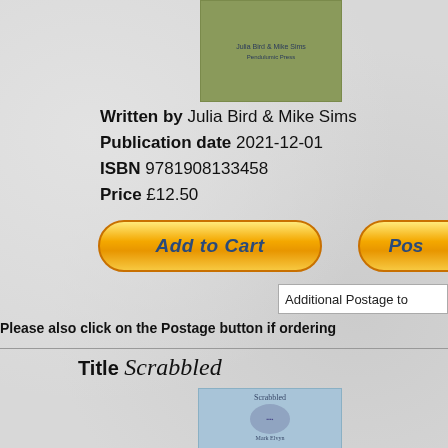[Figure (illustration): Book cover with olive/green background showing author names 'Julia Bird & Mike Sims' and publisher 'Pendulumic Press']
Written by Julia Bird & Mike Sims
Publication date 2021-12-01
ISBN 9781908133458
Price £12.50
[Figure (other): Add to Cart button - golden/yellow rounded button with italic bold text]
[Figure (other): Postage button - golden/yellow rounded button partially visible]
Additional Postage to
Please also click on the Postage button if ordering
Title Scrabbled
[Figure (illustration): Book cover for 'Scrabbled' by Mark Elvyn, light blue cover with scattered scrabble tiles illustration, published by Labirinth Press]